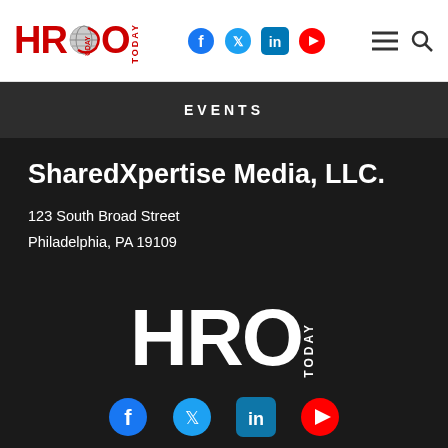HRO TODAY — Header navigation with logo and social icons
EVENTS
SharedXpertise Media, LLC.
123 South Broad Street
Philadelphia, PA 19109
[Figure (logo): HRO TODAY large white logo on dark background]
[Figure (logo): Social media icons row: Facebook, Twitter, LinkedIn, YouTube]